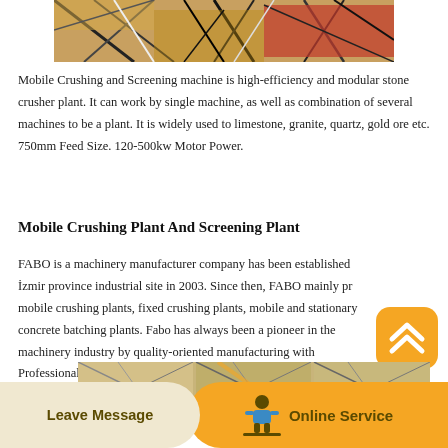[Figure (photo): Partial top view of a mobile crushing and screening machine, showing metal frame structure and red components]
Mobile Crushing and Screening machine is high-efficiency and modular stone crusher plant. It can work by single machine, as well as combination of several machines to be a plant. It is widely used to limestone, granite, quartz, gold ore etc. 750mm Feed Size. 120-500kw Motor Power.
Mobile Crushing Plant And Screening Plant
FABO is a machinery manufacturer company has been established İzmir province industrial site in 2003. Since then, FABO mainly pr mobile crushing plants, fixed crushing plants, mobile and stationary concrete batching plants. Fabo has always been a pioneer in the machinery industry by quality-oriented manufacturing with Professional and.
[Figure (other): Scroll-to-top button with upward chevron arrow icon on orange rounded square background]
[Figure (photo): Partial bottom view of mobile crushing plant machinery components]
Leave Message   Online Service